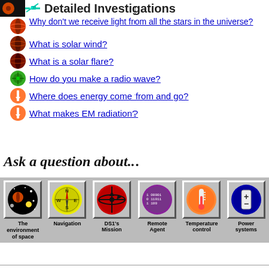Detailed Investigations
Why don't we receive light from all the stars in the universe?
What is solar wind?
What is a solar flare?
How do you make a radio wave?
Where does energy come from and go?
What makes EM radiation?
Ask a question about...
[Figure (infographic): Six navigation buttons labeled: The environment of space, Navigation, DS1's Mission, Remote Agent, Temperature control, Power systems]